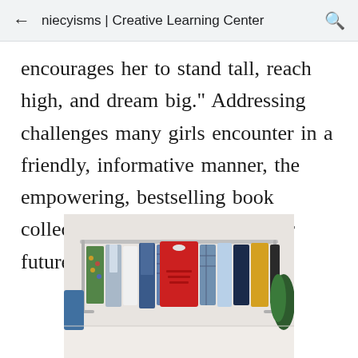niecyisms | Creative Learning Center
encourages her to stand tall, reach high, and dream big." Addressing challenges many girls encounter in a friendly, informative manner, the empowering, bestselling book collection is a must-read for our future leaders.
[Figure (photo): A clothing rack filled with various garments including jeans, floral dresses, plaid shirts, and a prominent red sweater in the center. The rack appears to be in a retail or closet setting.]